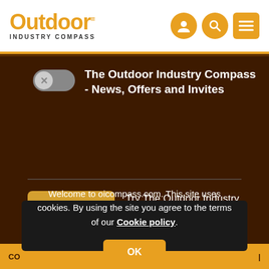Outdoor INDUSTRY COMPASS
The Outdoor Industry Compass - News, Offers and Invites
SIGN UP
SUBSCRIBE
Try The Outdoor Industry Compass
CO
Welcome to oicompass.com. This site uses cookies. By using the site you agree to the terms of our Cookie policy.
OK